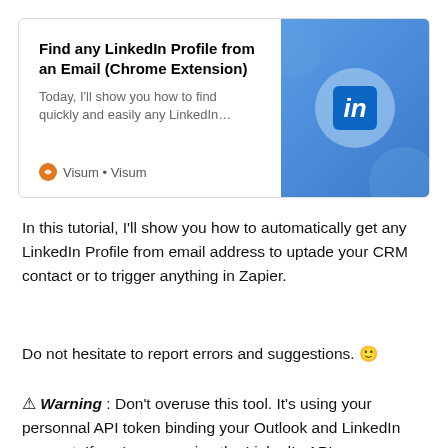[Figure (screenshot): Card preview showing 'Find any LinkedIn Profile from an Email (Chrome Extension)' with LinkedIn logo on blue background, authored by Visum]
In this tutorial, I'll show you how to automatically get any LinkedIn Profile from email address to uptade your CRM contact or to trigger anything in Zapier.
Do not hesitate to report errors and suggestions. 🙂
⚠ Warning : Don't overuse this tool. It's using your personnal API token binding your Outlook and LinkedIn account. If you're spamming the LinkedIn API servers, your